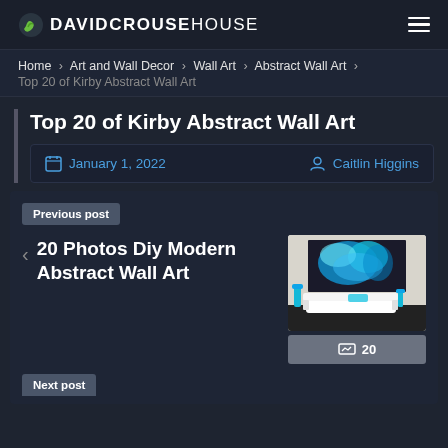DAVIDCROUSEHOUSE
Home > Art and Wall Decor > Wall Art > Abstract Wall Art > Top 20 of Kirby Abstract Wall Art
Top 20 of Kirby Abstract Wall Art
January 1, 2022  Caitlin Higgins
Previous post
20 Photos Diy Modern Abstract Wall Art
[Figure (photo): Abstract wall art photo showing teal/cyan abstract painting above white sofa with teal vases, room setting]
20
Next post